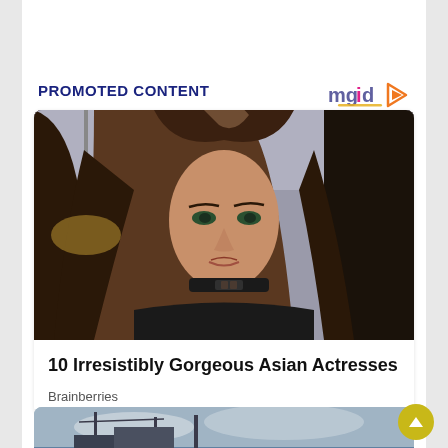PROMOTED CONTENT
[Figure (logo): mgid logo with play button icon in orange/pink/blue colors]
[Figure (photo): Photo of a woman with long brown hair, green eyes, wearing a black choker and black top, looking sideways. Indoor scene with a lamp visible in the background.]
10 Irresistibly Gorgeous Asian Actresses
Brainberries
[Figure (photo): Partial view of an outdoor waterfront or industrial scene with masts/structures against a cloudy sky, visible at the bottom of the page.]